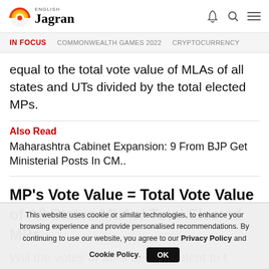English Jagran
IN FOCUS   COMMONWEALTH GAMES 2022   CRYPTOCURRENCY
equal to the total vote value of MLAs of all states and UTs divided by the total elected MPs.
Also Read
Maharashtra Cabinet Expansion: 9 From BJP Get Ministerial Posts In CM..
MP's Vote Value = Total Vote Value of All States MLAs/ Total Elected MPs
This website uses cookie or similar technologies, to enhance your browsing experience and provide personalised recommendations. By continuing to use our website, you agree to our Privacy Policy and Cookie Policy.